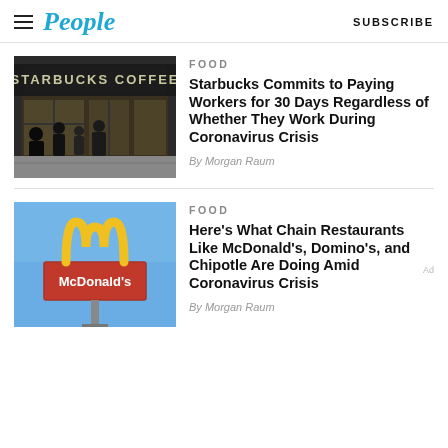People | SUBSCRIBE
FOOD
Starbucks Commits to Paying Workers for 30 Days Regardless of Whether They Work During Coronavirus Crisis
By Morgan Raum
[Figure (photo): Starbucks Coffee storefront with people walking in front]
FOOD
Here's What Chain Restaurants Like McDonald's, Domino's, and Chipotle Are Doing Amid Coronavirus Crisis
By Morgan Raum
[Figure (photo): McDonald's golden arches sign against blue sky]